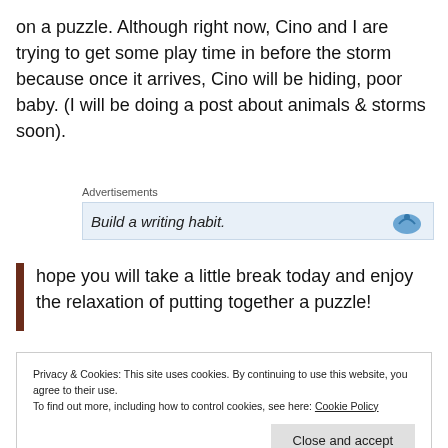on a puzzle. Although right now, Cino and I are trying to get some play time in before the storm because once it arrives, Cino will be hiding, poor baby. (I will be doing a post about animals & storms soon).
Advertisements
[Figure (other): Advertisement banner with text 'Build a writing habit.' and a blue icon on the right]
I hope you will take a little break today and enjoy the relaxation of putting together a puzzle!
Privacy & Cookies: This site uses cookies. By continuing to use this website, you agree to their use.
To find out more, including how to control cookies, see here: Cookie Policy
Close and accept